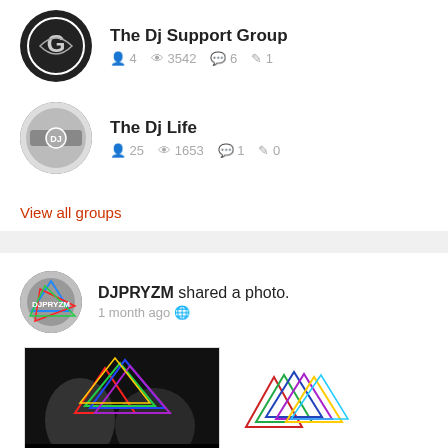The Dj Support Group — 4 members, 3542 views, 6 comments, 1 edit
The Dj Life — 25 members, 1653 views, 1 comment, 0 edits
View all groups
DJPRYZM shared a photo. 1 month ago
[Figure (photo): DJPRYZM logo photo with dark background and faces, text FACEBOOK.COM/PRYZM.DRAG]
[Figure (logo): DJPRYZM colorful triangle logo on white background]